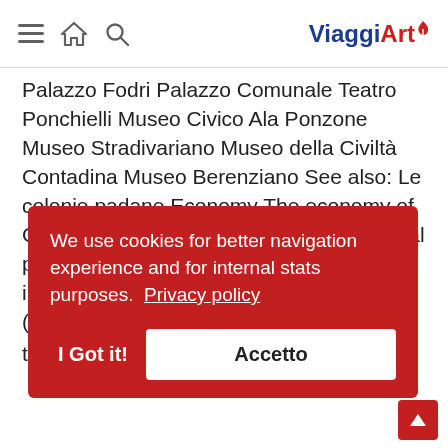ViaggiArt [navigation bar with hamburger, home, search icons and ViaggiArt logo]
Palazzo Fodri Palazzo Comunale Teatro Ponchielli Museo Civico Ala Ponzone Museo Stradivariano Museo della Civiltà Contadina Museo Berenziano See also: Le colonie padane Economy The economy of Cremona is deeply linked to the agricultural production of the countryside. Food industries include salted meat, sweets (torrone), vegetable oils the Po river. Music Cremona has a
We use cookies for better navigation experience and for internal stats purposes. Privacy policy
I Got it!   Accetto